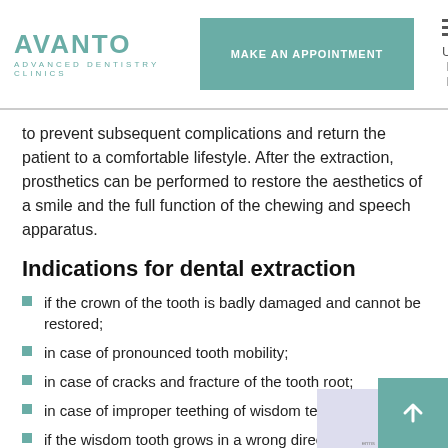AVANTO ADVANCED DENTISTRY CLINICS | MAKE AN APPOINTMENT | UA RU EN
to prevent subsequent complications and return the patient to a comfortable lifestyle. After the extraction, prosthetics can be performed to restore the aesthetics of a smile and the full function of the chewing and speech apparatus.
Indications for dental extraction
if the crown of the tooth is badly damaged and cannot be restored;
in case of pronounced tooth mobility;
in case of cracks and fracture of the tooth root;
in case of improper teething of wisdom teeth;
if the wisdom tooth grows in a wrong direction, destroying the adjacent tooth;
in case of inflammatory processes in the root of the